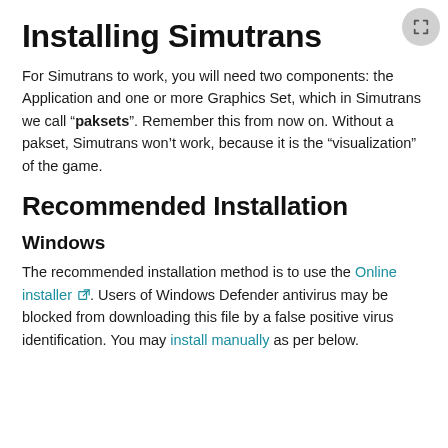Installing Simutrans
For Simutrans to work, you will need two components: the Application and one or more Graphics Set, which in Simutrans we call “paksets”. Remember this from now on. Without a pakset, Simutrans won’t work, because it is the “visualization” of the game.
Recommended Installation
Windows
The recommended installation method is to use the Online installer. Users of Windows Defender antivirus may be blocked from downloading this file by a false positive virus identification. You may install manually as per below.